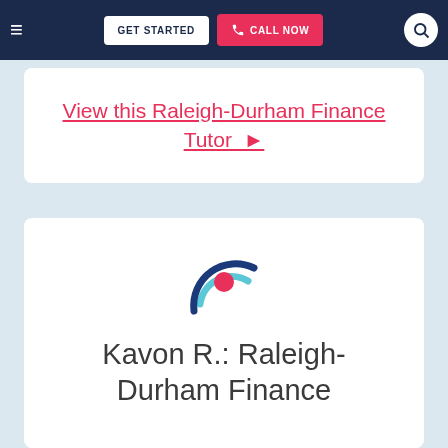≡   GET STARTED   📞 CALL NOW   🔍
View this Raleigh-Durham Finance Tutor ▶
[Figure (logo): Circular logo with a red dot center, light blue arc and dark blue arc forming concentric partial rings — tutoring service brand logo]
Kavon R.: Raleigh-Durham Finance